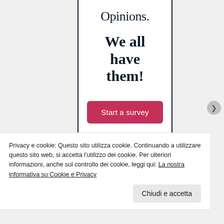Opinions.
We all have them!
[Figure (other): Pink/crimson button labeled 'Start a survey']
Privacy e cookie: Questo sito utilizza cookie. Continuando a utilizzare questo sito web, si accetta l'utilizzo dei cookie. Per ulteriori informazioni, anche sul controllo dei cookie, leggi qui: La nostra informativa su Cookie e Privacy
Chiudi e accetta